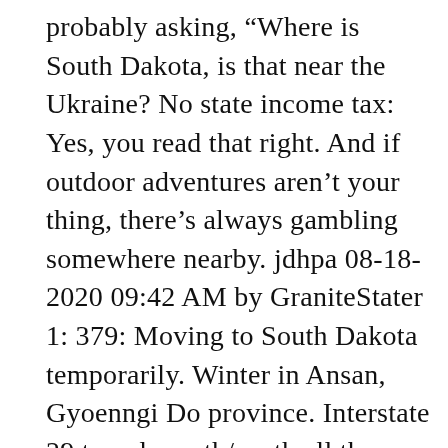probably asking, “Where is South Dakota, is that near the Ukraine? No state income tax: Yes, you read that right. And if outdoor adventures aren’t your thing, there’s always gambling somewhere nearby. jdhpa 08-18-2020 09:42 AM by GraniteStater 1: 379: Moving to South Dakota temporarily. Winter in Ansan, Gyoenngi Do province. Interstate 29 travels north/south all the way through the state. Why? In fact, the little town of Spearfish set the record for the most rapid temperature change. While the cost of living and housing prices may be low, the state still offers less-than-stellar salaries. Besides its rich culture, South Dakota boasts a business-friendly